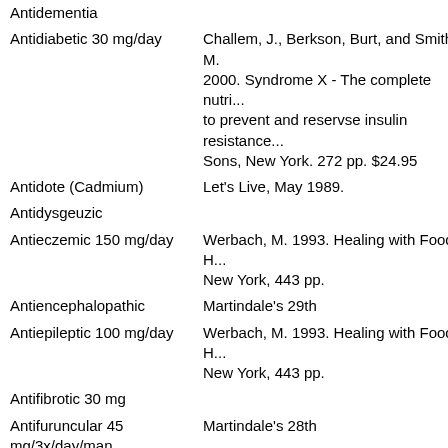| Term | Reference |
| --- | --- |
| Antidementia |  |
| Antidiabetic 30 mg/day | Challem, J., Berkson, Burt, and Smith, M. 2000. Syndrome X - The complete nutri... to prevent and reservse insulin resistance... Sons, New York. 272 pp. $24.95 |
| Antidote (Cadmium) | Let's Live, May 1989. |
| Antidysgeuzic |  |
| Antieczemic 150 mg/day | Werbach, M. 1993. Healing with Food. H... New York, 443 pp. |
| Antiencephalopathic | Martindale's 29th |
| Antiepileptic 100 mg/day | Werbach, M. 1993. Healing with Food. H... New York, 443 pp. |
| Antifibrotic 30 mg |  |
| Antifuruncular 45 mg/3x/day/man | Martindale's 28th |
| Antihangover 15 mg |  |
| Antiherpetic? 25-60 mg/day |  |
| Antiimpotence | Martindale's 29th |
| Antiinfective 50 mg/day | Werbach, M. 1993. Healing with Food. H... New York, 443 pp. |
| Antiinfertility 60 mg/day | Werbach, M. 1993. Healing with Food. H... |